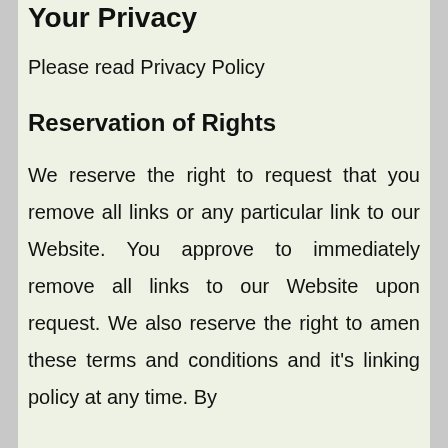Your Privacy
Please read Privacy Policy
Reservation of Rights
We reserve the right to request that you remove all links or any particular link to our Website. You approve to immediately remove all links to our Website upon request. We also reserve the right to amen these terms and conditions and it's linking policy at any time. By